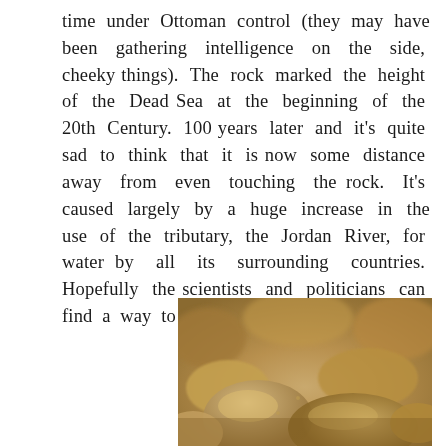time under Ottoman control (they may have been gathering intelligence on the side, cheeky things). The rock marked the height of the Dead Sea at the beginning of the 20th Century. 100 years later and it's quite sad to think that it is now some distance away from even touching the rock. It's caused largely by a huge increase in the use of the tributary, the Jordan River, for water by all its surrounding countries. Hopefully the scientists and politicians can find a way to fix it.
[Figure (photo): Close-up photograph of sandy/rocky terrain, showing light brown and tan colored rocks and sand in warm earth tones, slightly blurred background suggesting depth of field.]